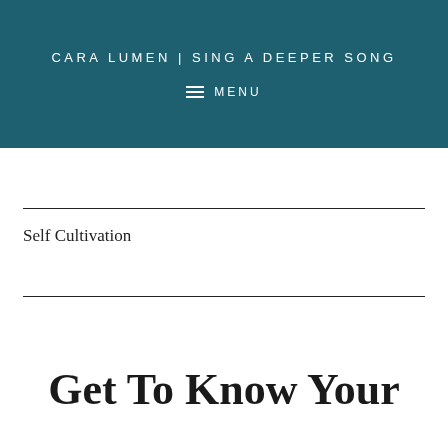CARA LUMEN | SING A DEEPER SONG
≡ MENU
Self Cultivation
Get To Know Your